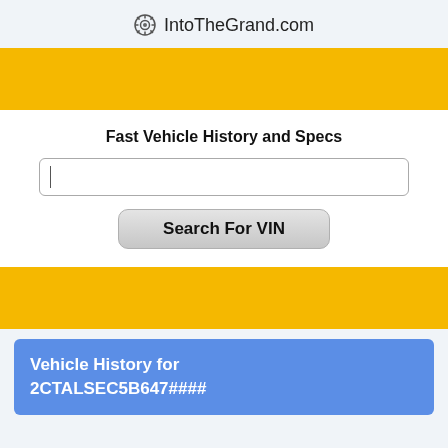IntoTheGrand.com
[Figure (other): Yellow decorative banner bar (top)]
Fast Vehicle History and Specs
[Figure (screenshot): VIN search input field with cursor and Search For VIN button]
[Figure (other): Yellow decorative banner bar (bottom)]
Vehicle History for 2CTALSEC5B647####